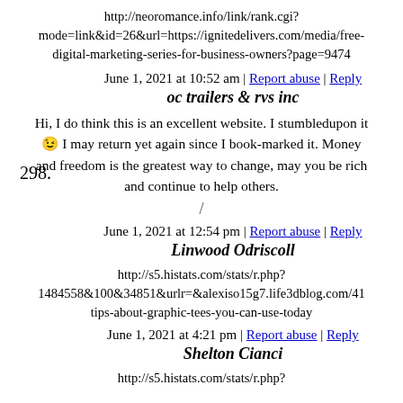http://neoromance.info/link/rank.cgi?mode=link&id=26&url=https://ignitedelivers.com/media/free-digital-marketing-series-for-business-owners?page=9474
298. June 1, 2021 at 10:52 am | Report abuse | Reply
oc trailers & rvs inc
Hi, I do think this is an excellent website. I stumbledupon it 😉 I may return yet again since I book-marked it. Money and freedom is the greatest way to change, may you be rich and continue to help others.
/
299. June 1, 2021 at 12:54 pm | Report abuse | Reply
Linwood Odriscoll
http://s5.histats.com/stats/r.php?1484558&100&34851&urlr=&alexiso15g7.life3dblog.com/41tips-about-graphic-tees-you-can-use-today
300. June 1, 2021 at 4:21 pm | Report abuse | Reply
Shelton Cianci
http://s5.histats.com/stats/r.php?